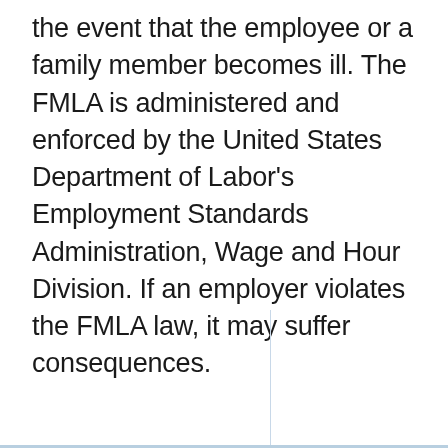the event that the employee or a family member becomes ill. The FMLA is administered and enforced by the United States Department of Labor's Employment Standards Administration, Wage and Hour Division. If an employer violates the FMLA law, it may suffer consequences.